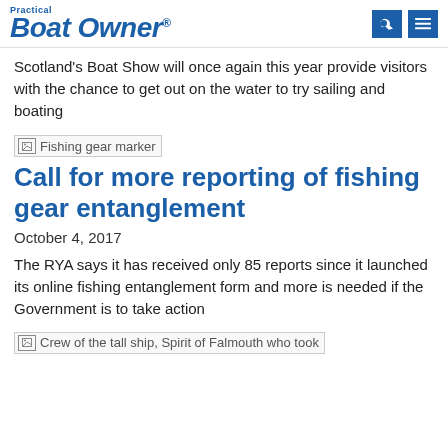Practical Boat Owner
Scotland's Boat Show will once again this year provide visitors with the chance to get out on the water to try sailing and boating
[Figure (photo): Broken image placeholder labeled 'Fishing gear marker']
Call for more reporting of fishing gear entanglement
October 4, 2017
The RYA says it has received only 85 reports since it launched its online fishing entanglement form and more is needed if the Government is to take action
[Figure (photo): Broken image placeholder labeled 'Crew of the tall ship, Spirit of Falmouth who took']